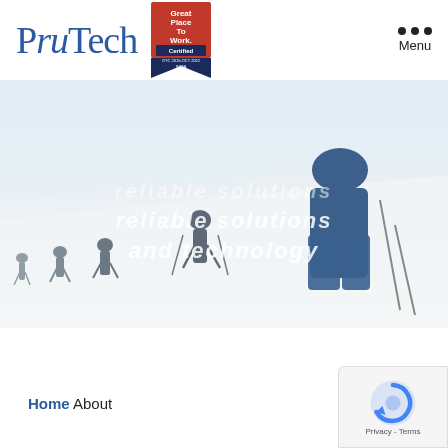[Figure (logo): PruTech company logo in blue serif italic font]
[Figure (logo): Great Place To Work Certified badge - red and navy shield shape with text: Great Place To Work Certified, OTC 2019-OCT 2022, INDIA]
[Figure (other): Menu icon with three horizontal dots and 'Menu' label]
[Figure (photo): Hero image of mountain climbers hiking up a snowy slope in foggy conditions, with overlaid italic white text: 'reliable solutions and technology']
Home About
[Figure (other): reCAPTCHA badge in bottom right corner showing reCAPTCHA logo and Privacy - Terms links]